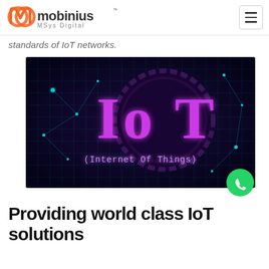mobinius MSys Digital
standards of IoT networks.
[Figure (illustration): IoT (Internet Of Things) digital glowing text on dark purple/blue background with circuit board and network connection patterns]
Providing world class IoT solutions